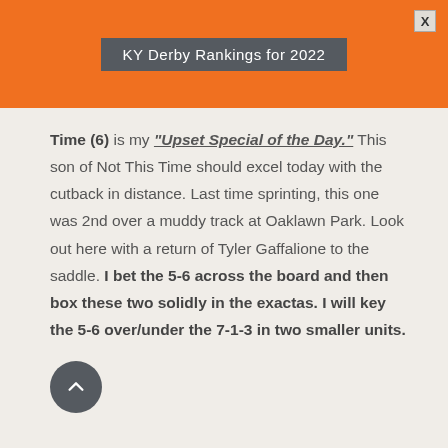KY Derby Rankings for 2022
Time (6) is my "Upset Special of the Day." This son of Not This Time should excel today with the cutback in distance. Last time sprinting, this one was 2nd over a muddy track at Oaklawn Park. Look out here with a return of Tyler Gaffalione to the saddle. I bet the 5-6 across the board and then box these two solidly in the exactas. I will key the 5-6 over/under the 7-1-3 in two smaller units.
[Figure (other): A circular dark grey back/up button with a chevron arrow pointing upward]